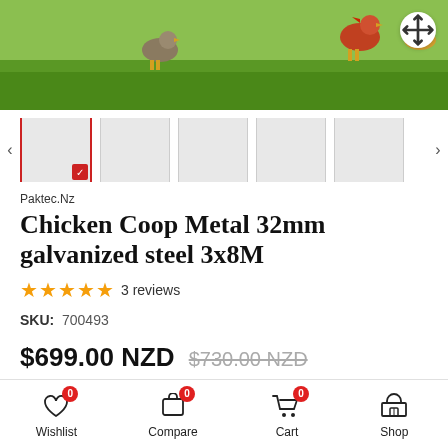[Figure (photo): Hero image showing chickens on green grass field with move/pan icon in top-right corner]
[Figure (screenshot): Thumbnail image strip with 5 image thumbnails and left/right arrows; first thumbnail is selected with red border and checkmark]
Paktec.Nz
Chicken Coop Metal 32mm galvanized steel 3x8M
★★★★★ 3 reviews
SKU: 700493
$699.00 NZD  $730.00 NZD
Tax included. Shipping calculated at checkout.
Make 4 interest-free payments of $174.75 with
Wishlist  Compare  Cart  Shop